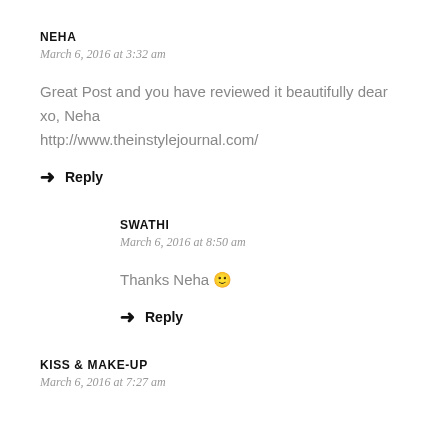NEHA
March 6, 2016 at 3:32 am
Great Post and you have reviewed it beautifully dear
xo, Neha
http://www.theinstylejournal.com/
→ Reply
SWATHI
March 6, 2016 at 8:50 am
Thanks Neha 🙂
→ Reply
KISS & MAKE-UP
March 6, 2016 at 7:27 am